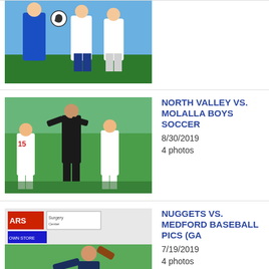[Figure (photo): Partial soccer photo showing players in blue and white uniforms, one player kicking a ball]
[Figure (photo): Soccer game photo showing player in black jersey jumping between white-uniformed players, player #15 visible]
NORTH VALLEY vs. MOLALLA BOYS SOCCER
8/30/2019
4 photos
[Figure (photo): Baseball pitcher in dark navy uniform mid-throw, ARS sign and other ads visible in background]
NUGGETS vs. MEDFORD BASEBALL PICS (GA
7/19/2019
4 photos
[Figure (photo): Baseball pitcher in red uniform mid-wind-up, Subway sign visible in background]
NUGGETS vs. KLAMATH FALLS BASEBALL PIC
7/18/2019
4 photos